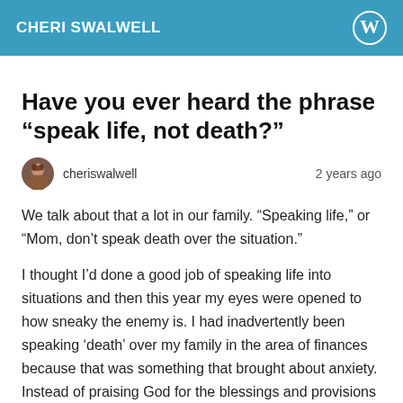CHERI SWALWELL
Have you ever heard the phrase “speak life, not death?”
cheriswalwell   2 years ago
We talk about that a lot in our family. “Speaking life,” or “Mom, don’t speak death over the situation.”
I thought I’d done a good job of speaking life into situations and then this year my eyes were opened to how sneaky the enemy is. I had inadvertently been speaking ‘death’ over my family in the area of finances because that was something that brought about anxiety. Instead of praising God for the blessings and provisions He gives, I was speaking into the lack that we had.